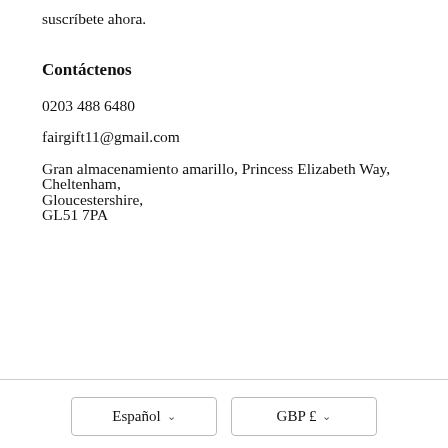suscríbete ahora.
Contáctenos
0203 488 6480

fairgift11@gmail.com

Gran almacenamiento amarillo, Princess Elizabeth Way,
Cheltenham,
Gloucestershire,
GL51 7PA
Español
GBP £